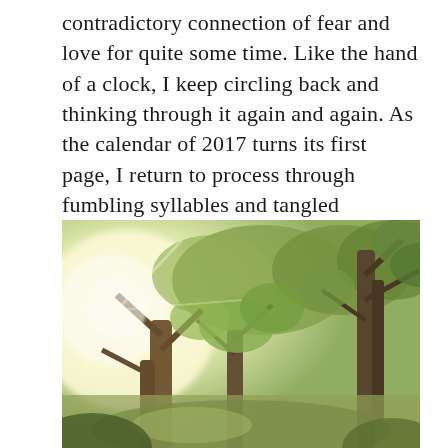contradictory connection of fear and love for quite some time. Like the hand of a clock, I keep circling back and thinking through it again and again. As the calendar of 2017 turns its first page, I return to process through fumbling syllables and tangled thoughts bumping along like a swiftly flowing stream.
[Figure (photo): Outdoor nature photograph showing sunlight filtering through trees with green foliage, a path or stream visible below, warm yellowish tones with lens flare effect suggesting a bright sunny day.]